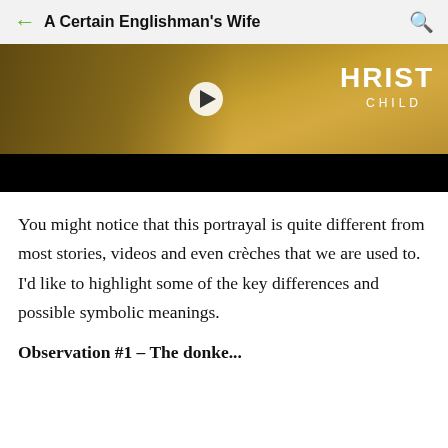A Certain Englishman's Wife
[Figure (screenshot): Video thumbnail showing a person on a donkey in a golden field, with 'CHRIST CHILD' text overlay and a play button. Below the thumbnail is a black progress/control bar.]
You might notice that this portrayal is quite different from most stories, videos and even crèches that we are used to.  I'd like to highlight some of the key differences and possible symbolic meanings.
Observation #1 – The donke...